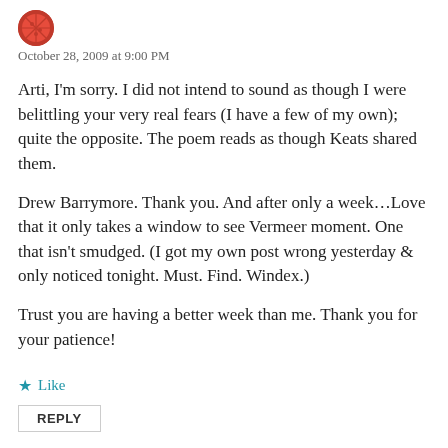[Figure (illustration): Small circular avatar icon with a red/orange pizza or decorative image]
October 28, 2009 at 9:00 PM
Arti, I'm sorry. I did not intend to sound as though I were belittling your very real fears (I have a few of my own); quite the opposite. The poem reads as though Keats shared them.
Drew Barrymore. Thank you. And after only a week…Love that it only takes a window to see Vermeer moment. One that isn't smudged. (I got my own post wrong yesterday & only noticed tonight. Must. Find. Windex.)
Trust you are having a better week than me. Thank you for your patience!
Like
REPLY